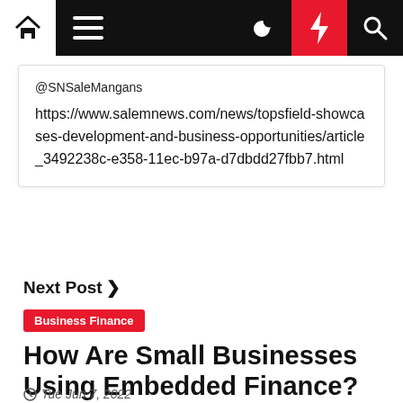Navigation bar with home, menu, moon, bolt, and search icons
@SNSaleMangans
https://www.salemnews.com/news/topsfield-showcases-development-and-business-opportunities/article_3492238c-e358-11ec-b97a-d7dbdd27fbb7.html
Next Post
Business Finance
How Are Small Businesses Using Embedded Finance?
Tue Jun 7, 2022